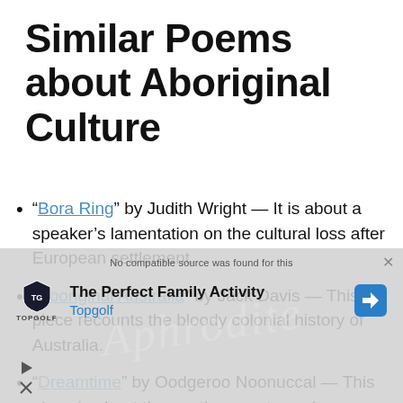Similar Poems about Aboriginal Culture
“Bora Ring” by Judith Wright — It is about a speaker’s lamentation on the cultural loss after European settlement.
“Aboriginal Australia” by Jack Davis — This piece recounts the bloody colonial history of Australia.
“Dreamtime” by Oodgeroo Noonuccal — This piece is about the poet’s ancestors who
[Figure (screenshot): Advertisement overlay: Topgolf 'The Perfect Family Activity' ad with logo and navigation icon, partially obscuring the page content. Also shows a video player overlay with text 'No compatible source was found for this' and watermark text 'Aphrodite'.]